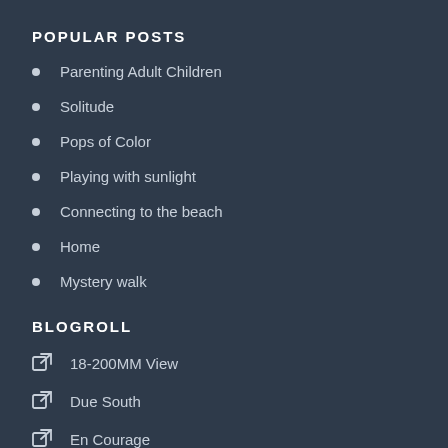POPULAR POSTS
Parenting Adult Children
Solitude
Pops of Color
Playing with sunlight
Connecting to the beach
Home
Mystery walk
BLOGROLL
18-200MM View
Due South
En Courage